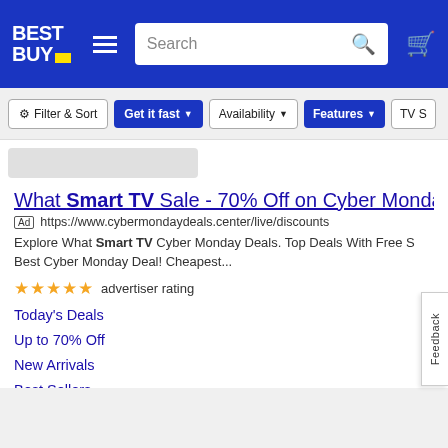[Figure (screenshot): Best Buy website header with logo, hamburger menu, search bar, and cart icon on blue background]
[Figure (screenshot): Filter bar with Filter & Sort, Get it fast, Availability, Features, and TV S buttons]
What Smart TV Sale - 70% Off on Cyber Monday
Ad https://www.cybermondaydeals.center/live/discounts
Explore What Smart TV Cyber Monday Deals. Top Deals With Free S... Best Cyber Monday Deal! Cheapest...
★★★★★ advertiser rating
Today's Deals
Up to 70% Off
New Arrivals
Best Sellers
► Visit Website